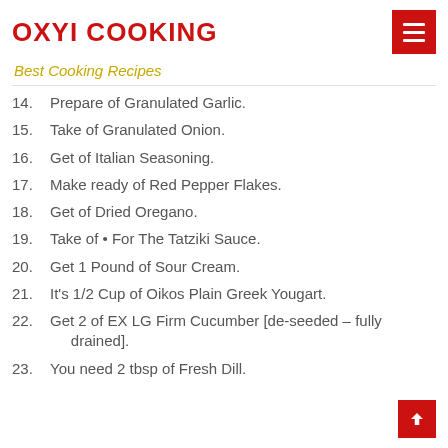OXYI COOKING
Best Cooking Recipes
14. Prepare of Granulated Garlic.
15. Take of Granulated Onion.
16. Get of Italian Seasoning.
17. Make ready of Red Pepper Flakes.
18. Get of Dried Oregano.
19. Take of • For The Tatziki Sauce.
20. Get 1 Pound of Sour Cream.
21. It's 1/2 Cup of Oikos Plain Greek Yougart.
22. Get 2 of EX LG Firm Cucumber [de-seeded – fully drained].
23. You need 2 tbsp of Fresh Dill.